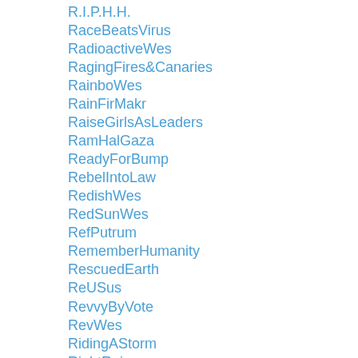R.I.P.H.H.
RaceBeatsVirus
RadioactiveWes
RagingFires&Canaries
RainboWes
RainFirMakr
RaiseGirlsAsLeaders
RamHalGaza
ReadyForBump
RebelIntoLaw
RedishWes
RedSunWes
RefPutrum
RememberHumanity
RescuedEarth
ReUSus
RevvyByVote
RevWes
RidingAStorm
RightRaisers